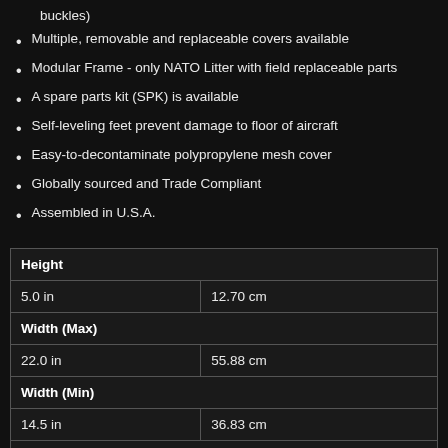buckles)
Multiple, removable and replaceable covers available
Modular Frame - only NATO Litter with field replaceable parts
A spare parts kit (SPK) is available
Self-leveling feet prevent damage to floor of aircraft
Easy-to-decontaminate polypropylene mesh cover
Globally sourced and Trade Compliant
Assembled in U.S.A.
| Height |  |
| 5.0 in | 12.70 cm |
| Width (Max) |  |
| 22.0 in | 55.88 cm |
| Width (Min) |  |
| 14.5 in | 36.83 cm |
| Length (Handles Deployed) |  |